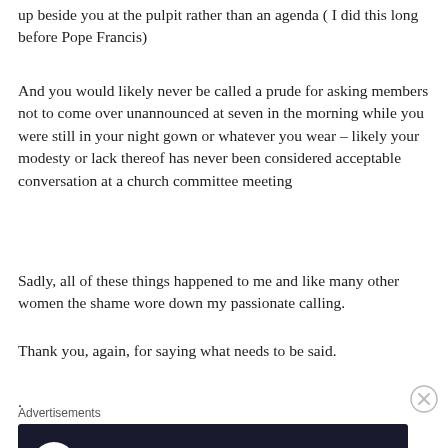up beside you at the pulpit rather than an agenda ( I did this long before Pope Francis)
And you would likely never be called a prude for asking members not to come over unannounced at seven in the morning while you were still in your night gown or whatever you wear – likely your modesty or lack thereof has never been considered acceptable conversation at a church committee meeting
Sadly, all of these things happened to me and like many other women the shame wore down my passionate calling.
Thank you, again, for saying what needs to be said.
.
[Figure (other): Close/dismiss button (X in circle) in the bottom right area]
Advertisements
[Figure (other): Advertisement banner: dark background with white circular icon (person with tree/upload symbol), teal text 'Teach freely', grey subtext 'Make money selling online courses.']